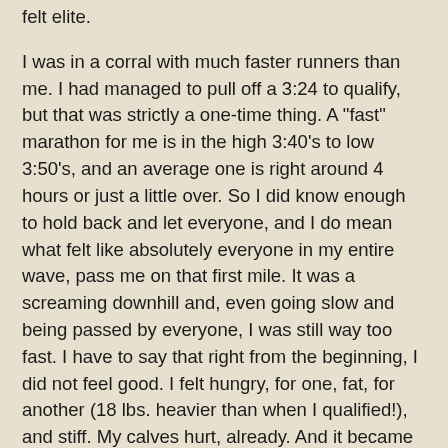felt elite.
I was in a corral with much faster runners than me. I had managed to pull off a 3:24 to qualify, but that was strictly a one-time thing. A "fast" marathon for me is in the high 3:40's to low 3:50's, and an average one is right around 4 hours or just a little over. So I did know enough to hold back and let everyone, and I do mean what felt like absolutely everyone in my entire wave, pass me on that first mile. It was a screaming downhill and, even going slow and being passed by everyone, I was still way too fast. I have to say that right from the beginning, I did not feel good. I felt hungry, for one, fat, for another (18 lbs. heavier than when I qualified!), and stiff. My calves hurt, already. And it became obvious very fast that I had been smitten by the words "net downhill" when applied to the course, and had just underestimated the steepness of the uphills. The elevation chart had looked so innocuous. It was hard to reconcile the image of the elevation chart in my head with the reality of the hills that were quickly draining me on the course.
I managed to stay right on pace for qualifying again up until the half marathon, and I was on pace to win.